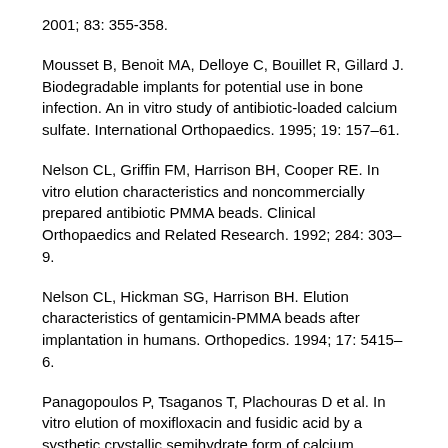2001; 83: 355-358.
Mousset B, Benoit MA, Delloye C, Bouillet R, Gillard J. Biodegradable implants for potential use in bone infection. An in vitro study of antibiotic-loaded calcium sulfate. International Orthopaedics. 1995; 19: 157–61.
Nelson CL, Griffin FM, Harrison BH, Cooper RE. In vitro elution characteristics and noncommercially prepared antibiotic PMMA beads. Clinical Orthopaedics and Related Research. 1992; 284: 303–9.
Nelson CL, Hickman SG, Harrison BH. Elution characteristics of gentamicin-PMMA beads after implantation in humans. Orthopedics. 1994; 17: 5415–6.
Panagopoulos P, Tsaganos T, Plachouras D et al. In vitro elution of moxifloxacin and fusidic acid by a systhetic crystallic semihydrate form of calcium sulphate (Stimulanâ„¢). International